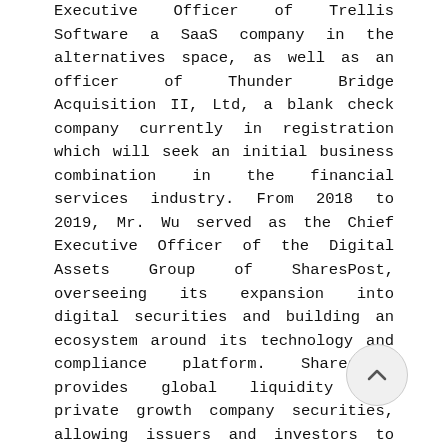Executive Officer of Trellis Software a SaaS company in the alternatives space, as well as an officer of Thunder Bridge Acquisition II, Ltd, a blank check company currently in registration which will seek an initial business combination in the financial services industry. From 2018 to 2019, Mr. Wu served as the Chief Executive Officer of the Digital Assets Group of SharesPost, overseeing its expansion into digital securities and building an ecosystem around its technology and compliance platform. SharesPost provides global liquidity for private growth company securities, allowing issuers and investors to use its existing Alternative Trading System to invest and trade in aftermarket and securities in compliance with U.S. laws and regulations. Mr. Wu also serves as